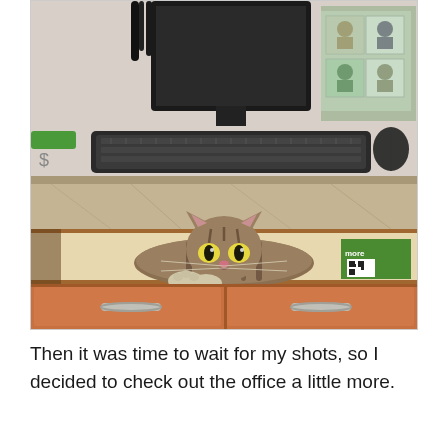[Figure (photo): A tabby cat lying on a shelf inside a reception desk cabinet, peering out with wide eyes. Above the shelf is a granite countertop with a keyboard, computer monitor, and display cards. Below are wooden drawers with metal handles. A green product box is visible on the right side of the shelf.]
Then it was time to wait for my shots, so I decided to check out the office a little more.